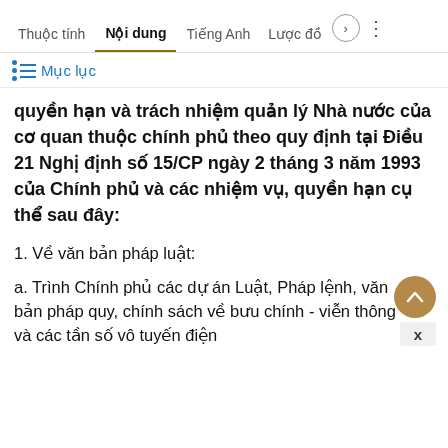Thuộc tính | Nội dung | Tiếng Anh | Lược đồ
≡ Mục lục
quyền hạn và trách nhiệm quản lý Nhà nước của cơ quan thuộc chính phủ theo quy định tại Điều 21 Nghị định số 15/CP ngày 2 tháng 3 năm 1993 của Chính phủ và các nhiệm vụ, quyền hạn cụ thể sau đây:
1. Về văn bản pháp luật:
a. Trình Chính phủ các dự án Luật, Pháp lệnh, văn bản pháp quy, chính sách về bưu chính - viễn thông và các tần số vô tuyến điện